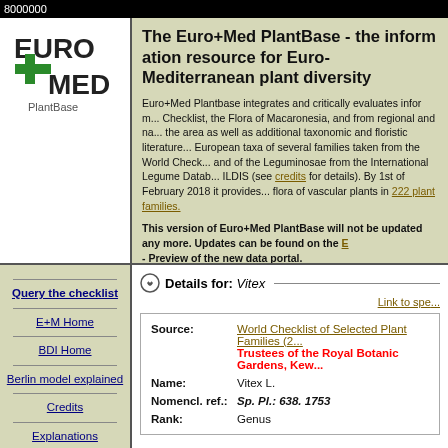8000000
The Euro+Med PlantBase - the information resource for Euro-Mediterranean plant diversity
Euro+Med Plantbase integrates and critically evaluates information from Flora Europaea, the European Garden Flora Checklist, the Flora of Macaronesia, and from regional and national floras and checklists from the area as well as additional taxonomic and floristic literature. It contains information on European taxa of several families taken from the World Checklist of Selected Plant Families (WCSP) and of the Leguminosae from the International Legume Database and Information Service ILDIS (see credits for details). By 1st of February 2018 it provides access to the documented flora of vascular plants in 222 plant families.
This version of Euro+Med PlantBase will not be updated any more. Updates can be found on the E... - Preview of the new data portal.
Query the checklist
E+M Home
BDI Home
Berlin model explained
Credits
Explanations
How to cite us
Details for: Vitex
Link to spe...
| Field | Value |
| --- | --- |
| Source: | World Checklist of Selected Plant Families (2...) Trustees of the Royal Botanic Gardens, Kew... |
| Name: | Vitex L. |
| Nomencl. ref.: | Sp. Pl.: 638. 1753 |
| Rank: | Genus |